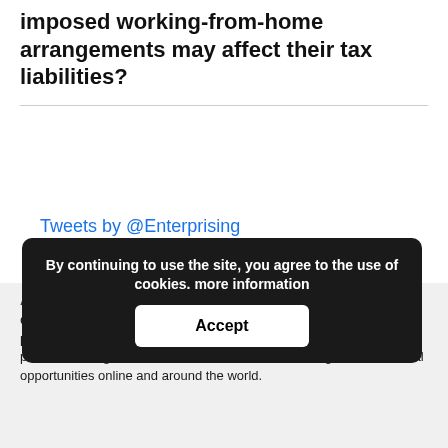imposed working-from-home arrangements may affect their tax liabilities?
Tweets by @Enterprising
By continuing to use the site, you agree to the use of cookies. more information
Accept
About CFA Institute
CFA Institute is the global not-for-profit association of investment professionals that awards CFA® and CIPM® designations. We promote the highest ethical standards and offer a range of educational opportunities online and around the world.